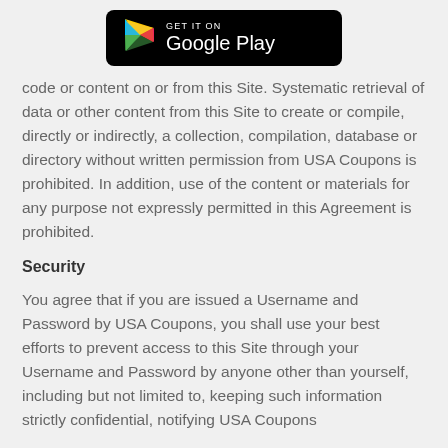[Figure (logo): Google Play Store badge with black background, Play triangle icon, and white text 'GET IT ON Google Play']
code or content on or from this Site. Systematic retrieval of data or other content from this Site to create or compile, directly or indirectly, a collection, compilation, database or directory without written permission from USA Coupons is prohibited. In addition, use of the content or materials for any purpose not expressly permitted in this Agreement is prohibited.
Security
You agree that if you are issued a Username and Password by USA Coupons, you shall use your best efforts to prevent access to this Site through your Username and Password by anyone other than yourself, including but not limited to, keeping such information strictly confidential, notifying USA Coupons